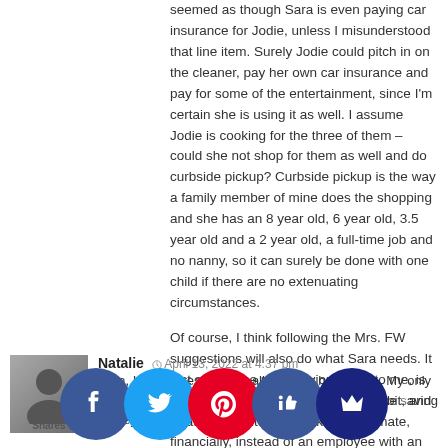seemed as though Sara is even paying car insurance for Jodie, unless I misunderstood that line item. Surely Jodie could pitch in on the cleaner, pay her own car insurance and pay for some of the entertainment, since I'm certain she is using it as well. I assume Jodie is cooking for the three of them – could she not shop for them as well and do curbside pickup? Curbside pickup is the way a family member of mine does the shopping and she has an 8 year old, 6 year old, 3.5 year old and a 2 year old, a full-time job and no nanny, so it can surely be done with one child if there are no extenuating circumstances.
Of course, I think following the Mrs. FW suggestions will also do what Sara needs. It just seems the most obvious way, to me, is to lower that nanny compensation a bit, and treat Jodie a little more like a roommate, financially, instead of an employee with an exceedingly generous compensation package.
Reply
Natalie  April 13, 2022 at 4:37 pm
Sara, I am impressed with all that you have done. My only concern is that it is quirky to let common... Jodie is she saving money for her future... may be not, it your...